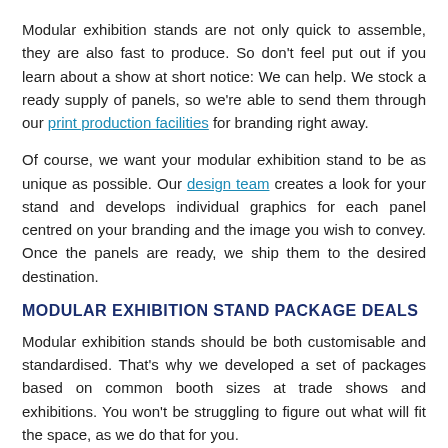Modular exhibition stands are not only quick to assemble, they are also fast to produce. So don't feel put out if you learn about a show at short notice: We can help. We stock a ready supply of panels, so we're able to send them through our print production facilities for branding right away.
Of course, we want your modular exhibition stand to be as unique as possible. Our design team creates a look for your stand and develops individual graphics for each panel centred on your branding and the image you wish to convey. Once the panels are ready, we ship them to the desired destination.
MODULAR EXHIBITION STAND PACKAGE DEALS
Modular exhibition stands should be both customisable and standardised. That's why we developed a set of packages based on common booth sizes at trade shows and exhibitions. You won't be struggling to figure out what will fit the space, as we do that for you.
The packages Exposure Group offers are:
Individual panel hire